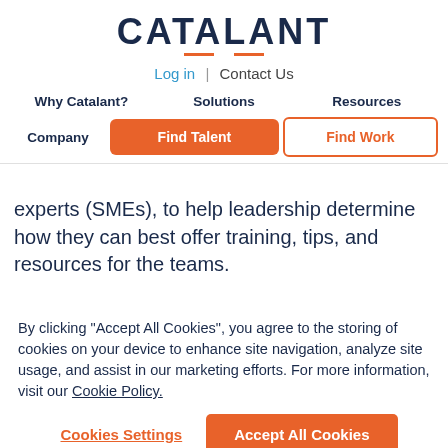CATALANT
Log in | Contact Us
Why Catalant?  Solutions  Resources  Company  Find Talent  Find Work
experts (SMEs), to help leadership determine how they can best offer training, tips, and resources for the teams.
By clicking “Accept All Cookies”, you agree to the storing of cookies on your device to enhance site navigation, analyze site usage, and assist in our marketing efforts. For more information, visit our Cookie Policy.
Cookies Settings
Accept All Cookies